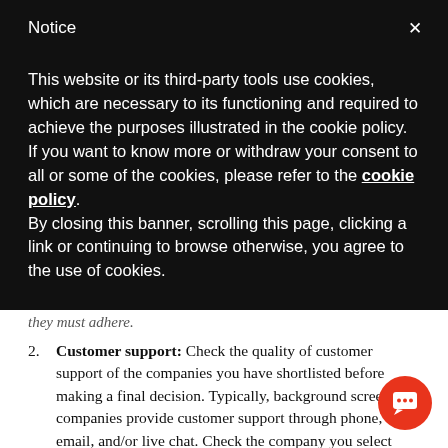Notice
This website or its third-party tools use cookies, which are necessary to its functioning and required to achieve the purposes illustrated in the cookie policy. If you want to know more or withdraw your consent to all or some of the cookies, please refer to the cookie policy.
By closing this banner, scrolling this page, clicking a link or continuing to browse otherwise, you agree to the use of cookies.
they must adhere.
Customer support: Check the quality of customer support of the companies you have shortlisted before making a final decision. Typically, background screening companies provide customer support through phone, email, and/or live chat. Check the company you select provides customer support in the mode you prefer and have a team of helpful customer support agents to help you when you need